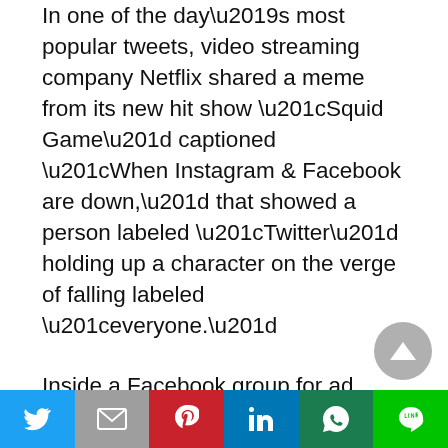In one of the day’s most popular tweets, video streaming company Netflix shared a meme from its new hit show “Squid Game” captioned “When Instagram & Facebook are down,” that showed a person labeled “Twitter” holding up a character on the verge of falling labeled “everyone.”
Inside a Facebook group for ad buyers, one member wisecracked after service returned that “lots of people searched today ‘how to run google ads for clients.’”
Facebook, which is the world’s largest seller of online ads after Google, was losing about
[Figure (other): Social media share bar with Twitter, Mail, Pinterest, LinkedIn, WhatsApp, and LINE buttons]